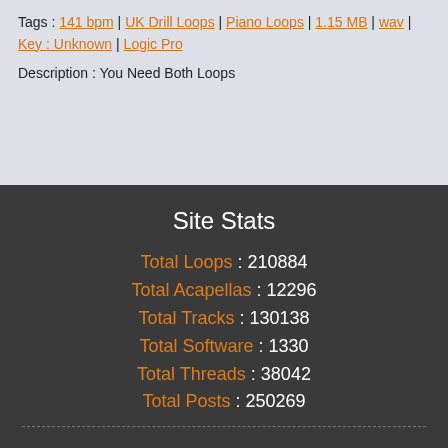Tags : 141 bpm | UK Drill Loops | Piano Loops | 1.15 MB | wav | Key : Unknown | Logic Pro
Description : You Need Both Loops
Site Stats
Total Loops : 210884
Total Acapellas : 12296
Total Tracks : 130138
Total Software : 1330
Total Threads : 38042
Total Posts : 250269
Help & Info
All your questions answered
Terms & Conditions